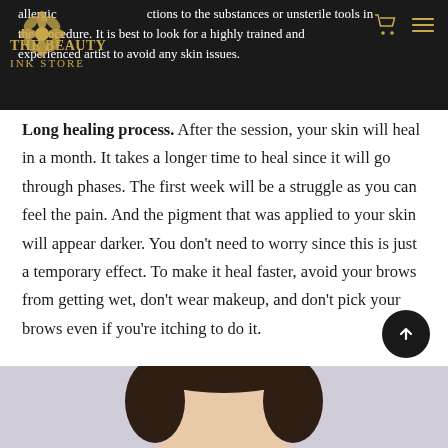allergic reactions to the substances or unsterile tools in the procedure. It is best to look for a highly trained and experienced artist to avoid any skin issues.
Long healing process. After the session, your skin will heal in a month. It takes a longer time to heal since it will go through phases. The first week will be a struggle as you can feel the pain. And the pigment that was applied to your skin will appear darker. You don't need to worry since this is just a temporary effect. To make it heal faster, avoid your brows from getting wet, don't wear makeup, and don't pick your brows even if you're itching to do it.
[Figure (photo): Bottom portion of a person's face/head with dark hair against a light purple-gray background]